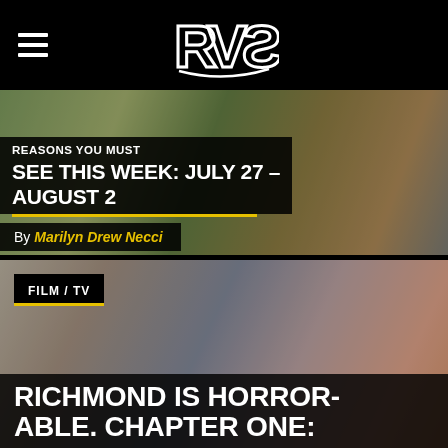RVA (logo)
REASONS YOU MUST SEE THIS WEEK: JULY 27 – AUGUST 2
By Marilyn Drew Necci
FILM / TV
RICHMOND IS HORROR-ABLE. CHAPTER ONE: